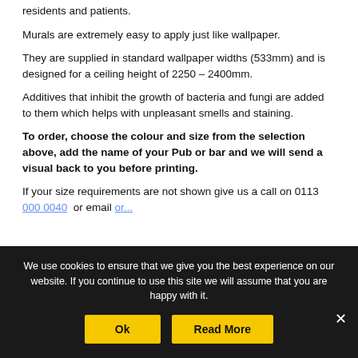residents and patients.
Murals are extremely easy to apply just like wallpaper.
They are supplied in standard wallpaper widths (533mm) and is designed for a ceiling height of 2250 – 2400mm.
Additives that inhibit the growth of bacteria and fungi are added to them which helps with unpleasant smells and staining.
To order, choose the colour and size from the selection above, add the name of your Pub or bar and we will send a visual back to you before printing.
If your size requirements are not shown give us a call on 0113 000 0040 or email or...
We use cookies to ensure that we give you the best experience on our website. If you continue to use this site we will assume that you are happy with it.